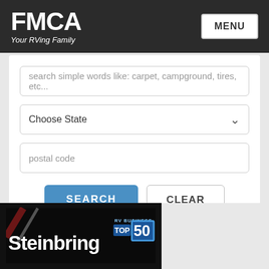FMCA Your RVing Family | MENU
search simple words like: carpet, campground, tires, etc...
Choose State
postal code
SEARCH | CLEAR
[Figure (logo): Steinbring Motorcoachs logo with RV Business Top 50 badge on dark background]